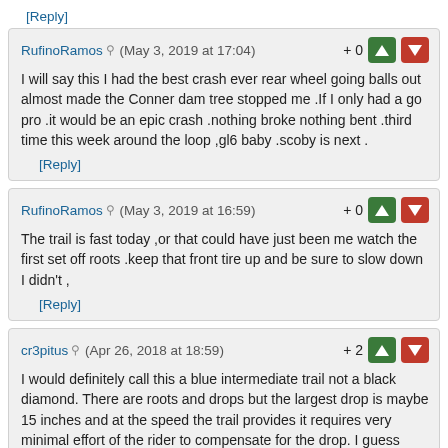[Reply]
RufinoRamos (May 3, 2019 at 17:04) +0
I will say this I had the best crash ever rear wheel going balls out almost made the Conner dam tree stopped me .If I only had a go pro .it would be an epic crash .nothing broke nothing bent .third time this week around the loop ,gl6 baby .scoby is next .
[Reply]
RufinoRamos (May 3, 2019 at 16:59) +0
The trail is fast today ,or that could have just been me watch the first set off roots .keep that front tire up and be sure to slow down I didn't ,
[Reply]
cr3pitus (Apr 26, 2018 at 18:59) +2
I would definitely call this a blue intermediate trail not a black diamond. There are roots and drops but the largest drop is maybe 15 inches and at the speed the trail provides it requires very minimal effort of the rider to compensate for the drop. I guess technically some of the drops are unavoidable but they are in the minority and are small.